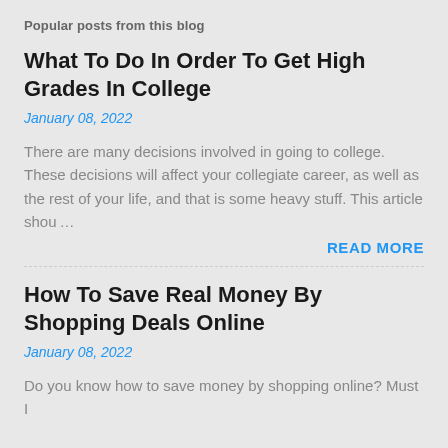Popular posts from this blog
What To Do In Order To Get High Grades In College
January 08, 2022
There are many decisions involved in going to college. These decisions will affect your collegiate career, as well as the rest of your life, and that is some heavy stuff. This article shou…
READ MORE
How To Save Real Money By Shopping Deals Online
January 08, 2022
Do you know how to save money by shopping online? Must I